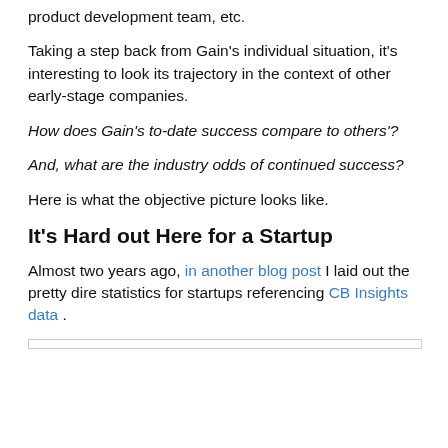product development team, etc.
Taking a step back from Gain's individual situation, it's interesting to look its trajectory in the context of other early-stage companies.
How does Gain's to-date success compare to others'?
And, what are the industry odds of continued success?
Here is what the objective picture looks like.
It's Hard out Here for a Startup
Almost two years ago, in another blog post I laid out the pretty dire statistics for startups referencing CB Insights data .